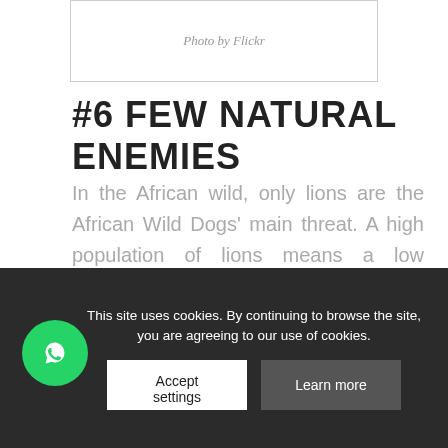[Figure (photo): Photo placeholder box with caption 'Photo by Flickr']
Photo by Flickr
#6 FEW NATURAL ENEMIES
In the African wild, only lions are the African Wild Dogs' main threat. A high population of lions means a low population of the dogs. Not many other predators are a threat to them. The hyenas will try to steal their kill, but won't deliberately hunt the adult pack members.
Humans, on the other hand, are a very real threat. Farmers would...the belief...desperate times would they attack livestock. And kill
This site uses cookies. By continuing to browse the site, you are agreeing to our use of cookies.